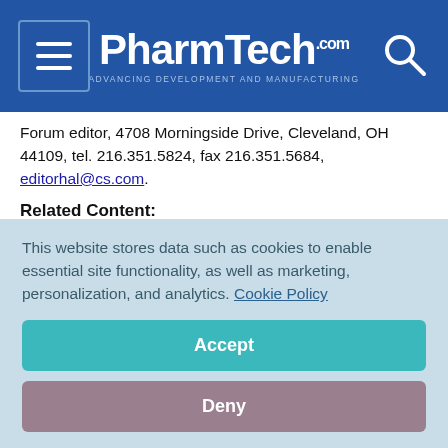PharmTech.com — Advancing Development and Manufacturing
Forum editor, 4708 Morningside Drive, Cleveland, OH 44109, tel. 216.351.5824, fax 216.351.5684, editorhal@cs.com.
Related Content:
Packaging Trends | Manufacturing | Packaging, Labeling, and Distribution Systems | Manufacturing, Drug Products | Pharmaceutical Technology-09-02-2008
Watson-Marlow and Franz Ziel GmbH Launch Cellefill
Grand River Aseptic Manufacturing Completes Phase II of Facility
This website stores data such as cookies to enable essential site functionality, as well as marketing, personalization, and analytics. Cookie Policy
Accept
Deny